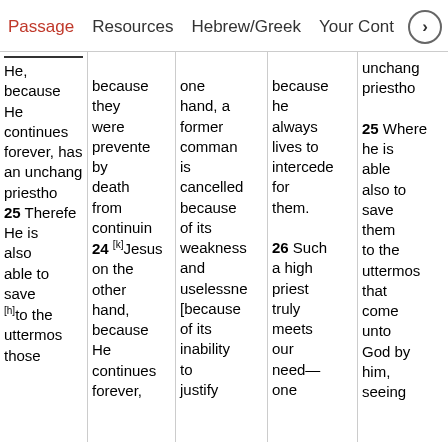Passage | Resources | Hebrew/Greek | Your Cont…
He, because He continues forever, has an unchangeable priesthood 25 Therefore He is also able to save [h]to the uttermost those
because they were prevented by death from continuing 24 [k]Jesus on the other hand, because He continues forever,
one hand, a former command is cancelled because of its weakness and uselessness [because of its inability to justify
because he always lives to intercede for them. 26 Such a high priest truly meets our need— one
unchangeable priesthood 25 Wherefore he is able also to save them to the uttermost that come unto God by him, seeing